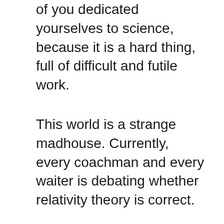of you dedicated yourselves to science, because it is a hard thing, full of difficult and futile work.
This world is a strange madhouse. Currently, every coachman and every waiter is debating whether relativity theory is correct.
When I have no special problem to occupy my mind, I love to reconstruct proofs of mathematical and physical theorems that have long been known to me. There is no goal in this, merely an opportunity to